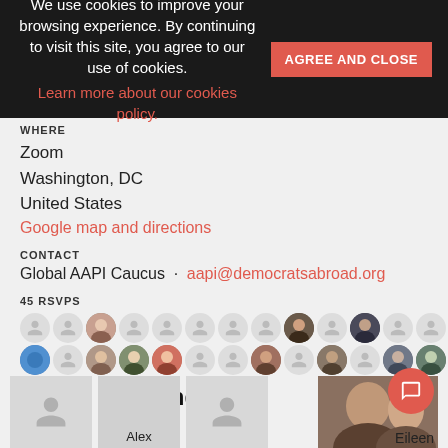We use cookies to improve your browsing experience. By continuing to visit this site, you agree to our use of cookies. Learn more about our cookies policy.
AGREE AND CLOSE
WHERE
Zoom
Washington, DC
United States
Google map and directions
CONTACT
Global AAPI Caucus · aapi@democratsabroad.org
45 RSVPS
[Figure (photo): Grid of RSVP avatar profile pictures, 2 rows of user avatars]
Who's RSVPing
[Figure (photo): Profile cards row: anonymous user, Alex, anonymous user, photo user Eileen]